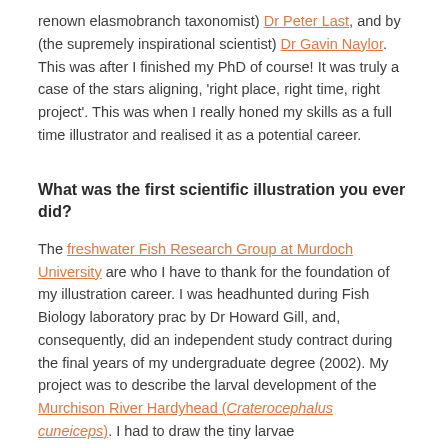renown elasmobranch taxonomist) Dr Peter Last, and by (the supremely inspirational scientist) Dr Gavin Naylor. This was after I finished my PhD of course! It was truly a case of the stars aligning, 'right place, right time, right project'. This was when I really honed my skills as a full time illustrator and realised it as a potential career.
What was the first scientific illustration you ever did?
The freshwater Fish Research Group at Murdoch University are who I have to thank for the foundation of my illustration career. I was headhunted during Fish Biology laboratory prac by Dr Howard Gill, and, consequently, did an independent study contract during the final years of my undergraduate degree (2002). My project was to describe the larval development of the Murchison River Hardyhead (Craterocephalus cuneiceps). I had to draw the tiny larvae